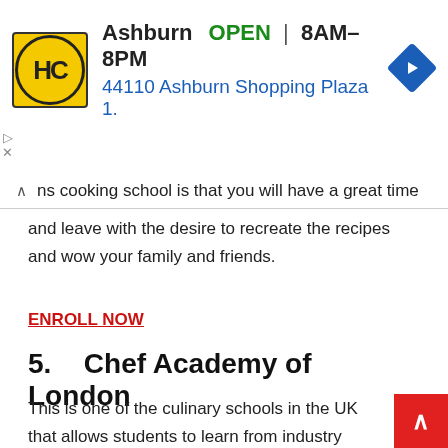[Figure (other): HC (Hobby Craft) store advertisement banner showing logo, Ashburn location, OPEN status, hours 8AM-8PM, address 44110 Ashburn Shopping Plaza 1., and a blue navigation arrow icon]
ins cooking school is that you will have a great time and leave with the desire to recreate the recipes and wow your family and friends.
ENROLL NOW
5.   Chef Academy of London
This is one of the culinary schools in the UK that allows students to learn from industry specialists while also teaching them the fundamentals of cooking and what it means to be a chef.